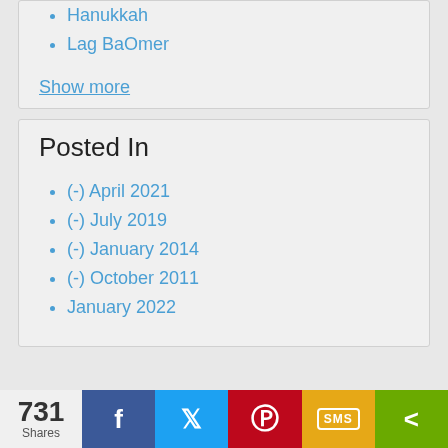Hanukkah
Lag BaOmer
Show more
Posted In
(-) April 2021
(-) July 2019
(-) January 2014
(-) October 2011
January 2022
731 Shares | Facebook | Twitter | Pinterest | SMS | Share